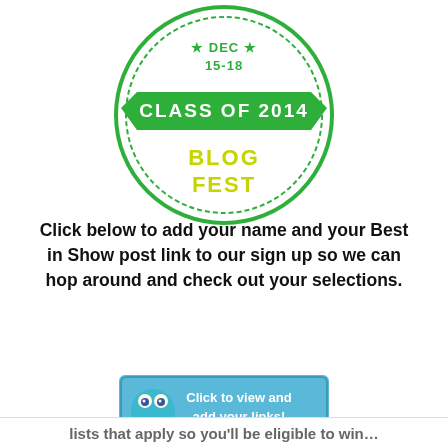[Figure (logo): Circular badge logo with green circle border, stars, text 'DEC 15-18', green banner ribbon with 'CLASS OF 2014', and yellow-green text 'BLOG FEST']
Click below to add your name and your Best in Show post link to our sign up so we can hop around and check out your selections.
[Figure (illustration): Blue button with a cartoon frog and text 'Click to view and add your links!']
Privacy & Cookies: This site uses cookies. By continuing to use this website, you agree to their use.
To find out more, including how to control cookies, see here: Cookie Policy
Close and accept
lists that apply so you'll be eligible to win…